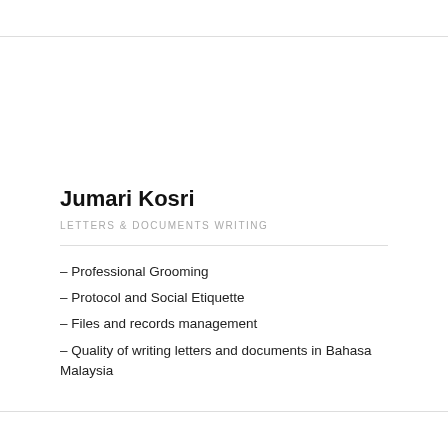Jumari Kosri
LETTERS & DOCUMENTS WRITING
– Professional Grooming
– Protocol and Social Etiquette
– Files and records management
– Quality of writing letters and documents in Bahasa Malaysia